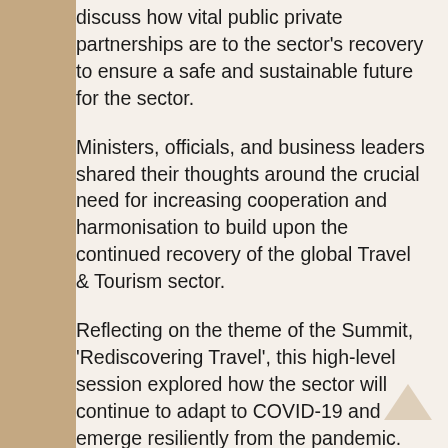discuss how vital public private partnerships are to the sector's recovery to ensure a safe and sustainable future for the sector.
Ministers, officials, and business leaders shared their thoughts around the crucial need for increasing cooperation and harmonisation to build upon the continued recovery of the global Travel & Tourism sector.
Reflecting on the theme of the Summit, 'Rediscovering Travel', this high-level session explored how the sector will continue to adapt to COVID-19 and emerge resiliently from the pandemic.
From border closures, furlough schemes and digital solutions, those attending discussed the highs and lows from the past two years and identified lessons learnt, best practices and trends and set the pathway for a more resilient and sustainable Travel & Tourism